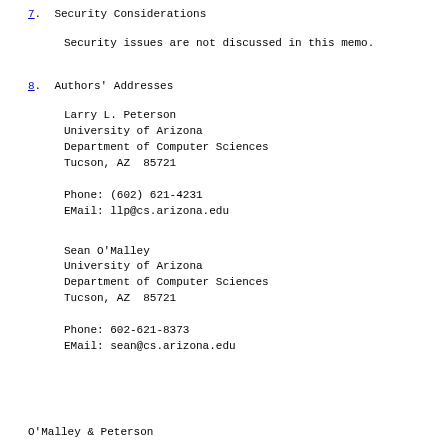7.  Security Considerations
Security issues are not discussed in this memo.
8.  Authors' Addresses
Larry L. Peterson
University of Arizona
Department of Computer Sciences
Tucson, AZ  85721

Phone: (602) 621-4231
EMail: llp@cs.arizona.edu
Sean O'Malley
University of Arizona
Department of Computer Sciences
Tucson, AZ  85721

Phone: 602-621-8373
EMail: sean@cs.arizona.edu
O'Malley & Peterson